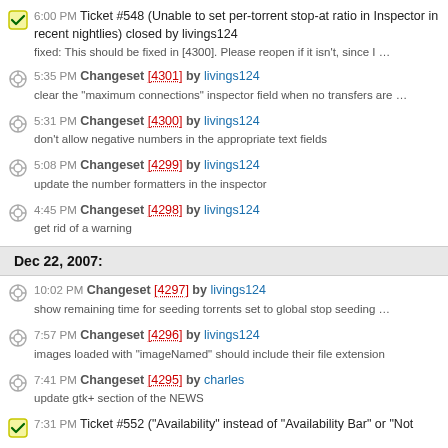6:00 PM Ticket #548 (Unable to set per-torrent stop-at ratio in Inspector in recent nightlies) closed by livings124 — fixed: This should be fixed in [4300]. Please reopen if it isn't, since I ...
5:35 PM Changeset [4301] by livings124 — clear the "maximum connections" inspector field when no transfers are ...
5:31 PM Changeset [4300] by livings124 — don't allow negative numbers in the appropriate text fields
5:08 PM Changeset [4299] by livings124 — update the number formatters in the inspector
4:45 PM Changeset [4298] by livings124 — get rid of a warning
Dec 22, 2007:
10:02 PM Changeset [4297] by livings124 — show remaining time for seeding torrents set to global stop seeding ...
7:57 PM Changeset [4296] by livings124 — images loaded with "imageNamed" should include their file extension
7:41 PM Changeset [4295] by charles — update gtk+ section of the NEWS
7:31 PM Ticket #552 ("Availability" instead of "Availability Bar" or "Not